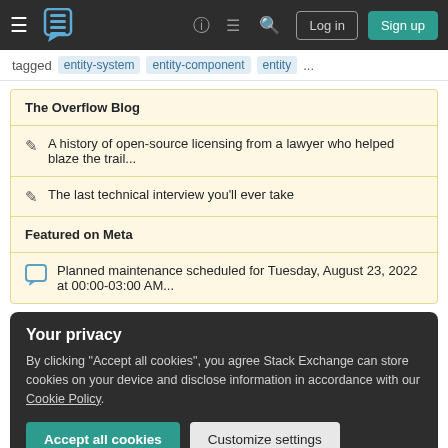Stack Overflow navigation bar with Log in and Sign up buttons
tagged entity-system entity-component entity ...
The Overflow Blog
A history of open-source licensing from a lawyer who helped blaze the trail...
The last technical interview you'll ever take
Featured on Meta
Planned maintenance scheduled for Tuesday, August 23, 2022 at 00:00-03:00 AM...
Your privacy
By clicking "Accept all cookies", you agree Stack Exchange can store cookies on your device and disclose information in accordance with our Cookie Policy.
Accept all cookies   Customize settings
Handling movement using an Entity Component based System...